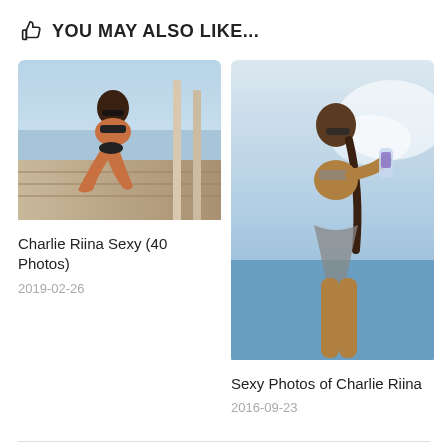YOU MAY ALSO LIKE...
[Figure (photo): Woman in black bikini posing on a wooden dock by the water]
Charlie Riina Sexy (40 Photos)
2019-02-26
[Figure (photo): Woman in patterned bikini holding a water bottle at the beach]
Sexy Photos of Charlie Riina
2016-09-23